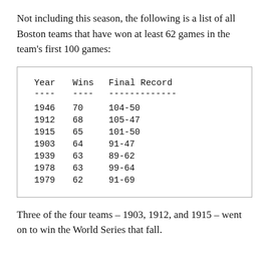Not including this season, the following is a list of all Boston teams that have won at least 62 games in the team's first 100 games:
| Year | Wins | Final Record |
| --- | --- | --- |
| 1946 | 70 | 104-50 |
| 1912 | 68 | 105-47 |
| 1915 | 65 | 101-50 |
| 1903 | 64 | 91-47 |
| 1939 | 63 | 89-62 |
| 1978 | 63 | 99-64 |
| 1979 | 62 | 91-69 |
Three of the four teams – 1903, 1912, and 1915 – went on to win the World Series that fall.